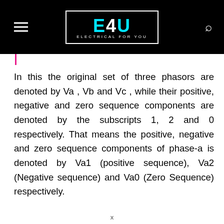E4U ELECTRICAL FOR YOU
In this the original set of three phasors are denoted by Va , Vb and Vc , while their positive, negative and zero sequence components are denoted by the subscripts 1, 2 and 0 respectively. That means the positive, negative and zero sequence components of phase-a is denoted by Va1 (positive sequence), Va2 (Negative sequence) and Va0 (Zero Sequence) respectively.
x